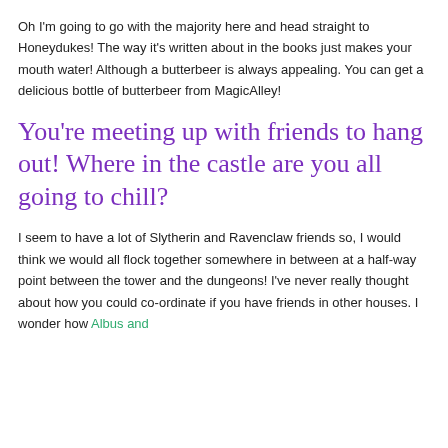Oh I'm going to go with the majority here and head straight to Honeydukes! The way it's written about in the books just makes your mouth water! Although a butterbeer is always appealing. You can get a delicious bottle of butterbeer from MagicAlley!
You're meeting up with friends to hang out! Where in the castle are you all going to chill?
I seem to have a lot of Slytherin and Ravenclaw friends so, I would think we would all flock together somewhere in between at a half-way point between the tower and the dungeons! I've never really thought about how you could co-ordinate if you have friends in other houses. I wonder how Albus and